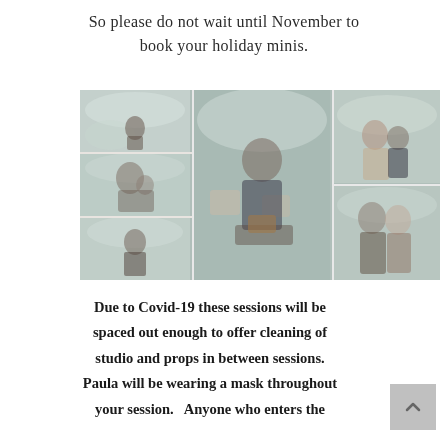So please do not wait until November to book your holiday minis.
[Figure (photo): Collage of holiday mini session photos showing children and families posed against a snowy winter/Christmas backdrop with pine trees. Multiple portraits arranged in a grid: small child alone (top left), man with baby (middle left), boy alone (bottom left), toddler boy centered large in middle, mother with son (top right), couple with child (bottom right).]
Due to Covid-19 these sessions will be spaced out enough to offer cleaning of studio and props in between sessions. Paula will be wearing a mask throughout your session.  Anyone who enters the